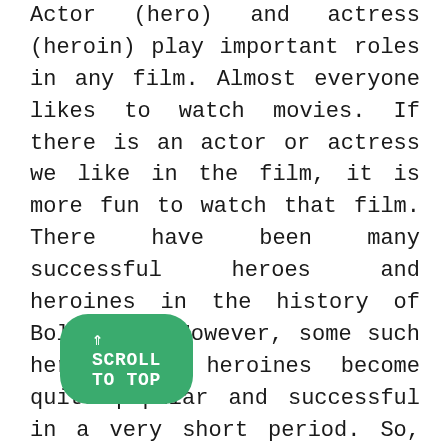Actor (hero) and actress (heroin) play important roles in any film. Almost everyone likes to watch movies. If there is an actor or actress we like in the film, it is more fun to watch that film. There have been many successful heroes and heroines in the history of Bollywood. However, some such heroes and heroines become quite popular and successful in a very short period. So, in this article, we will talk about an actress or heroine who became very successful and popular in a very short span of time. In this article, we will talk about Superstar Divya Bharti.
⇑ SCROLL TO TOP